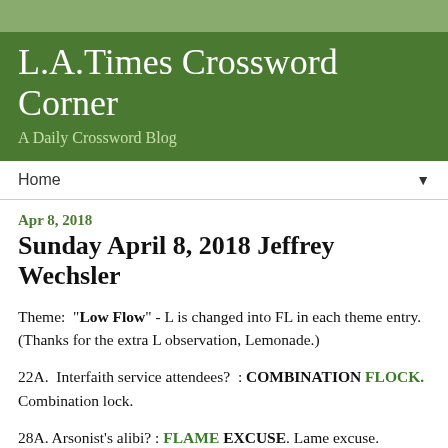L.A.Times Crossword Corner
A Daily Crossword Blog
Home
Apr 8, 2018
Sunday April 8, 2018 Jeffrey Wechsler
Theme: "Low Flow" - L is changed into FL in each theme entry. (Thanks for the extra L observation, Lemonade.)
22A. Interfaith service attendees? : COMBINATION FLOCK. Combination lock.
28A. Arsonist's alibi? : FLAME EXCUSE. Lame excuse.
56A. Cause of business failure? : CORPORATE FLAW. Corporate law.